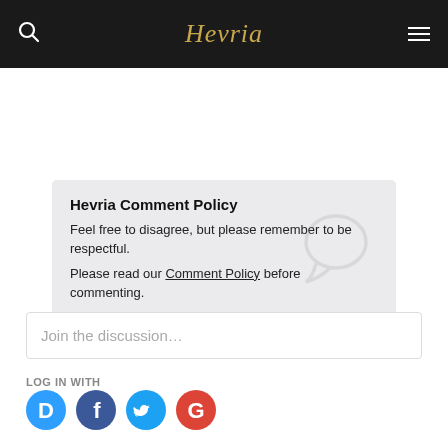Hevria
Hevria Comment Policy
Feel free to disagree, but please remember to be respectful.
Please read our Comment Policy before commenting.
Comments  Community  🔒  1  Login
♡ Favorite  Sort by Best
Join the discussion...
LOG IN WITH